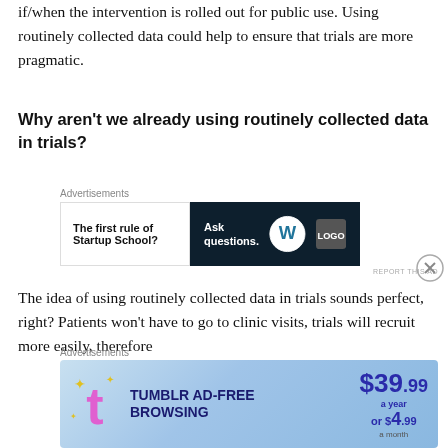if/when the intervention is rolled out for public use. Using routinely collected data could help to ensure that trials are more pragmatic.
Why aren't we already using routinely collected data in trials?
[Figure (other): Advertisement block with two panels: left panel showing 'The first rule of Startup School?' text, right dark panel showing 'Ask questions.' with WordPress and related logos.]
The idea of using routinely collected data in trials sounds perfect, right? Patients won't have to go to clinic visits, trials will recruit more easily, therefore
[Figure (other): Tumblr Ad-Free Browsing advertisement showing $39.99 a year or $4.99 a month pricing.]